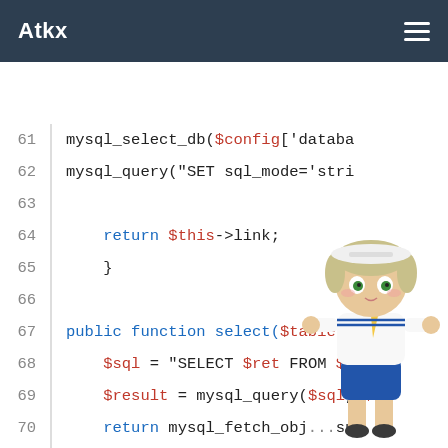Atkx
61    mysql_select_db($config['databa
62    mysql_query("SET sql_mode='stri
63
64        return $this->link;
65    }
66
67    public function select($table, $whe
68        $sql = "SELECT $ret FROM $table
69        $result = mysql_query($sql, $th
70        return mysql_fetch_obj...su
71    }
72
73    public function insert($table $key
74        $key = implode(',', $ke...);
75        $value = '\'' . implode(\ ''  
76        $sql = "INSERT INTO $table $ke
77        return mysql_query($sql);
78    }
79